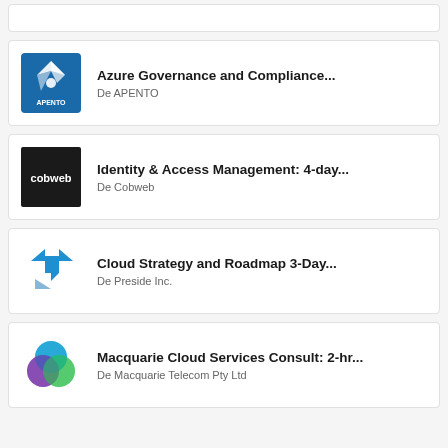[Figure (logo): Partial card at top of page (empty/cropped)]
Azure Governance and Compliance...
De APENTO
[Figure (logo): APENTO logo - blue square with white compass/arrow design and APENTO text]
Identity & Access Management: 4-day...
De Cobweb
[Figure (logo): Cobweb logo - black square with white cobweb text]
Cloud Strategy and Roadmap 3-Day...
De Preside Inc.
[Figure (logo): Preside Inc logo - blue geometric/arrow shapes]
Macquarie Cloud Services Consult: 2-hr...
De Macquarie Telecom Pty Ltd
[Figure (logo): Macquarie Telecom logo - colorful overlapping circles in blue, green, teal, purple]